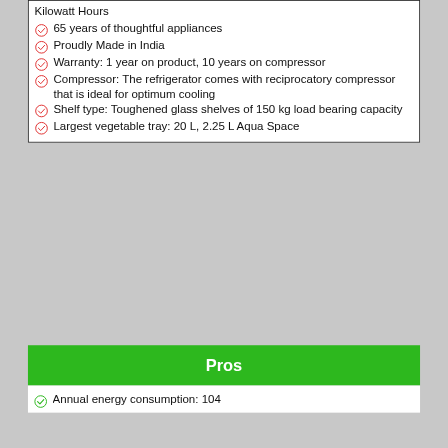Kilowatt Hours
65 years of thoughtful appliances
Proudly Made in India
Warranty: 1 year on product, 10 years on compressor
Compressor: The refrigerator comes with reciprocatory compressor that is ideal for optimum cooling
Shelf type: Toughened glass shelves of 150 kg load bearing capacity
Largest vegetable tray: 20 L, 2.25 L Aqua Space
Pros
Annual energy consumption: 104